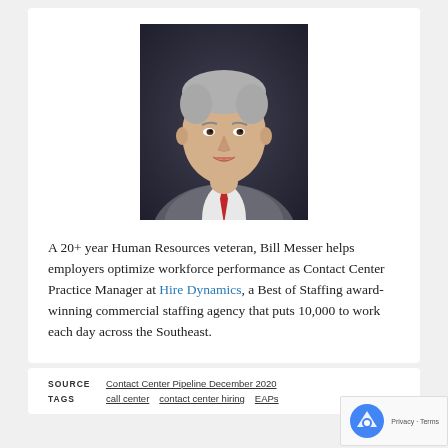[Figure (photo): Professional headshot of Bill Messer, a middle-aged man with gray hair wearing a gray suit and red tie, photographed against a dark background]
A 20+ year Human Resources veteran, Bill Messer helps employers optimize workforce performance as Contact Center Practice Manager at Hire Dynamics, a Best of Staffing award-winning commercial staffing agency that puts 10,000 to work each day across the Southeast.
SOURCE  Contact Center Pipeline December 2020
TAGS  call center  contact center hiring  EAPs